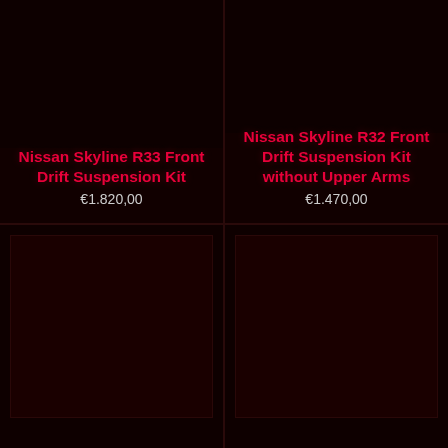[Figure (photo): Product photo area for Nissan Skyline R33 Front Drift Suspension Kit - dark/black background with product image]
Nissan Skyline R33 Front Drift Suspension Kit
€1.820,00
[Figure (photo): Product photo area for Nissan Skyline R32 Front Drift Suspension Kit without Upper Arms - dark background]
Nissan Skyline R32 Front Drift Suspension Kit without Upper Arms
€1.470,00
[Figure (photo): Product photo area - bottom left cell, dark background with product image thumbnail]
[Figure (photo): Product photo area - bottom right cell, dark background with product image thumbnail]